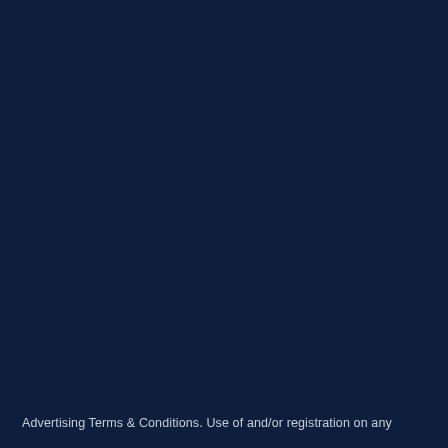Advertising Terms & Conditions. Use of and/or registration on any